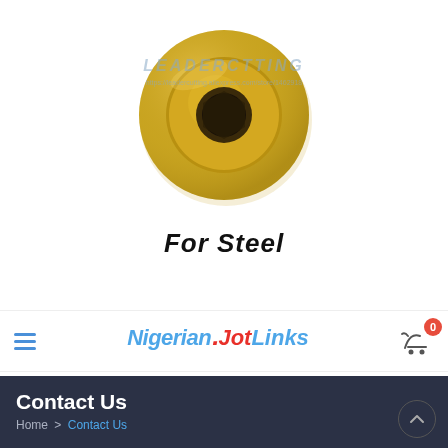[Figure (photo): Gold/brass colored circular cutting insert (indexable carbide insert) with a hexagonal hole in the center, viewed from top. Watermark text reads LEADERCTTING and https://leadercutting.aliexpress.com/store/1462918]
For  Steel
[Figure (logo): NigerianJotLinks logo - Nigerian and Links in blue italic bold, Jot in red italic bold with dot accent]
Contact Us
Home > Contact Us